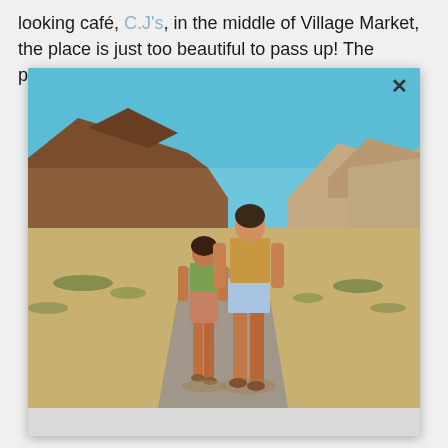looking café, C.J's, in the middle of Village Market, the place is just too beautiful to pass up! The perfect place to grab a
[Figure (photo): Two women in denim shorts and crop tops walking along a desert road toward the camera, with red-brown mountains and clear blue sky in the background. A modal overlay with an X close button frames the photo.]